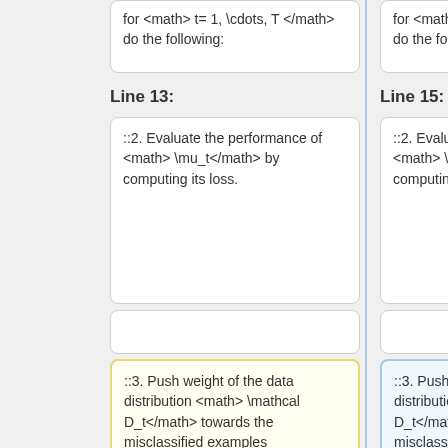for <math> t= 1, \cdots, T </math> do the following:
for <math> t= 1, \cdots, T </math> do the following:
Line 13:
Line 15:
::2. Evaluate the performance of <math> \mu_t</math> by computing its loss.
::2. Evaluate the performance of <math> \mu_t</math> by computing its loss.
::3. Push weight of the data distribution <math> \mathcal D_t</math> towards the misclassified examples
::3. Push weight of the data distribution <math> \mathcal D_t</math> towards the misclassified examples